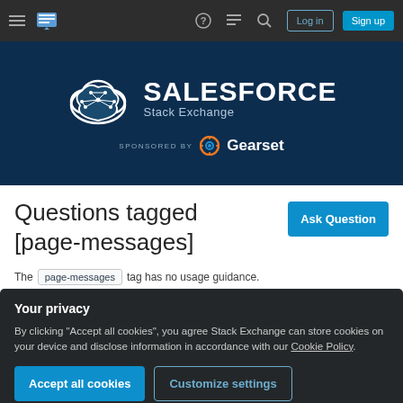Salesforce Stack Exchange navigation bar with Log in and Sign up buttons
[Figure (logo): Salesforce Stack Exchange header banner with logo, site name, and Gearset sponsor]
Questions tagged [page-messages]
The page-messages tag has no usage guidance.
Your privacy
By clicking "Accept all cookies", you agree Stack Exchange can store cookies on your device and disclose information in accordance with our Cookie Policy.